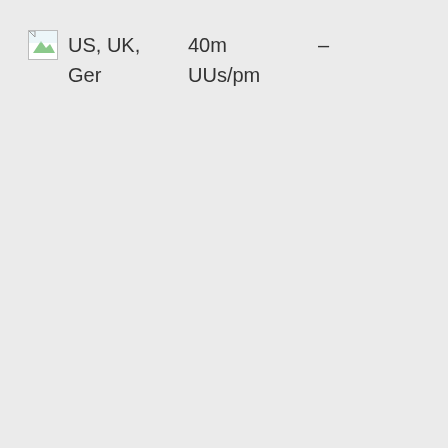[Figure (illustration): Broken/missing image icon (small thumbnail placeholder with green landscape graphic)]
US, UK,
Ger	40m
UUs/pm	–